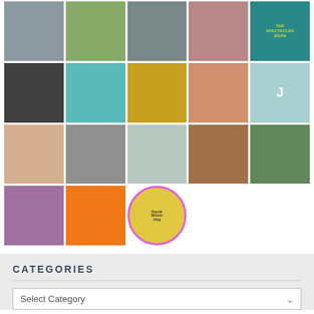[Figure (photo): Grid of avatar profile pictures showing various people and decorative quilt/pattern images. Row 1: person photo, green quilt pattern, person photo, person photo, teal logo. Row 2: black-and-white person photo, blue quilt pattern, gold quilt pattern, person outdoor, teal J circle. Row 3: blonde person, person with dog, person outdoor, stone nature scene, person in nature. Row 4: person with curly hair, orange quilt pattern, rainbow-bordered circle avatar.]
CATEGORIES
Select Category
ARCHIVES